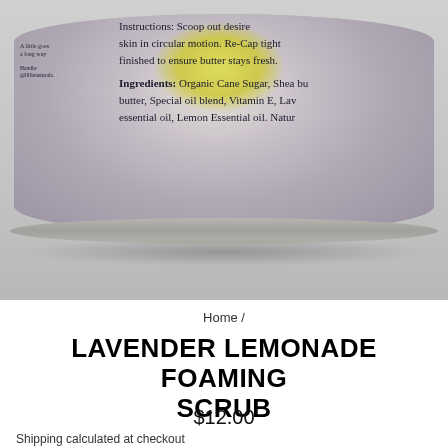[Figure (photo): Product photo of a lavender lemonade foaming scrub jar viewed from the side, showing the label with ingredients and instructions text. The jar contains purple/lavender colored scrub with a yellow-green highlight. The label reads: Instructions: Scoop out desired amount, apply to skin in circular motion. Re-Cap tightly when finished to ensure butter stays fresh. Ingredients: Organic Cane Sugar, Shea butter, Special oil blend, Vitamin E, Lavender essential oil, Lemon Essential oil, Natural...]
Home /
LAVENDER LEMONADE FOAMING SCRUB
$12.00
Shipping calculated at checkout